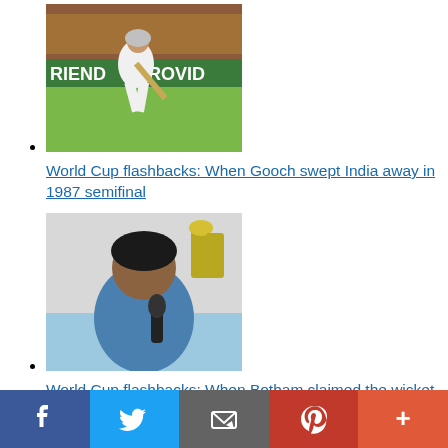World Cup flashbacks: When Gooch swept India away in 1987 semifinal
[Figure (photo): Cricket player in white batting gear playing a sweep shot on a cricket field, with 'FRIEND PROVID' advertisement board visible in background]
World Cup flashbacks: When Gooch swept India away in 1987 semifinal
World Cup flashbacks: When Botham claimed the wicket of Tendulkar, half his age
[Figure (photo): Man in blue shirt holding a microphone, speaking at an event with trophies visible in background]
World Cup flashbacks: When Botham claimed the wicket of Tendulkar, half his age
[Figure (photo): Partially visible dark image at bottom of page]